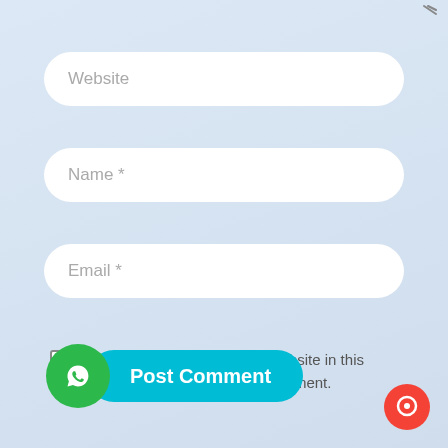[Figure (screenshot): Web form with Website, Name, Email input fields, a save info checkbox, a Post Comment button with WhatsApp icon overlay, and a chat support icon in the bottom right.]
Website
Name *
Email *
Save my name, email, and website in this browser for the next time I comment.
Post Comment